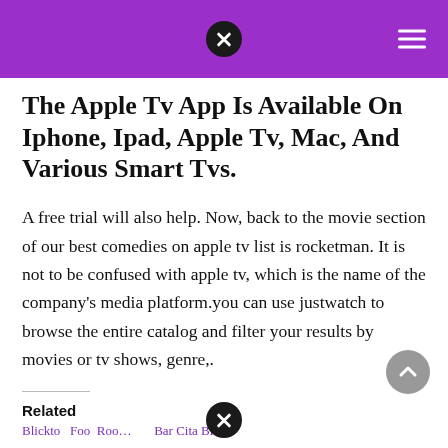[Purple header bar with close button and hamburger menu]
The Apple Tv App Is Available On Iphone, Ipad, Apple Tv, Mac, And Various Smart Tvs.
A free trial will also help. Now, back to the movie section of our best comedies on apple tv list is rocketman. It is not to be confused with apple tv, which is the name of the company's media platform.you can use justwatch to browse the entire catalog and filter your results by movies or tv shows, genre,.
Related